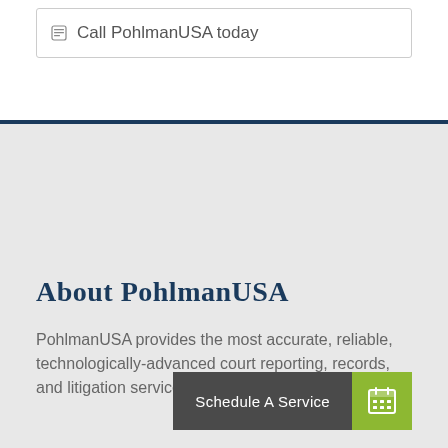Call PohlmanUSA today
About PohlmanUSA
PohlmanUSA provides the most accurate, reliable, technologically-advanced court reporting, records, and litigation services.
Schedule A Service